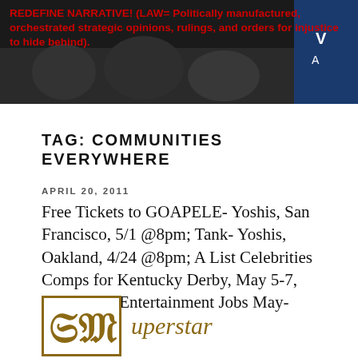[Figure (photo): Dark banner image with crowd/event photo in background, blue accent on right side. Red bold text overlaid on dark background reading about narrative and law.]
REDEFINE NARRATIVE! (LAW= Politically manufactured, orchestrated strategic opinions, rulings, and orders for injustice to hide behind).
TAG: COMMUNITIES EVERYWHERE
APRIL 20, 2011
Free Tickets to GOAPELE- Yoshis, San Francisco, 5/1 @8pm; Tank- Yoshis, Oakland, 4/24 @8pm; A List Celebrities Comps for Kentucky Derby, May 5-7, 2011; New Entertainment Jobs May-April 2011!
[Figure (logo): Superstar logo — decorative gothic monogram in gold/brown inside a gold-bordered box, followed by italic text 'uperstar' in gold.]